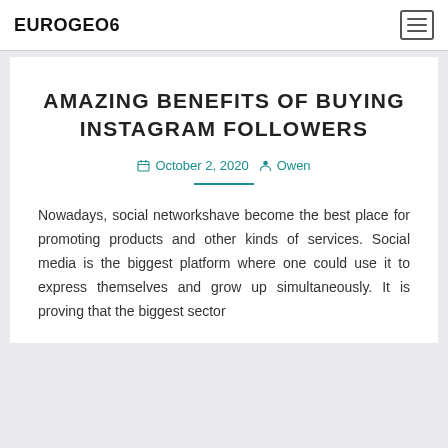EUROGEO6
AMAZING BENEFITS OF BUYING INSTAGRAM FOLLOWERS
October 2, 2020  Owen
Nowadays, social networkshave become the best place for promoting products and other kinds of services. Social media is the biggest platform where one could use it to express themselves and grow up simultaneously. It is proving that the biggest sector